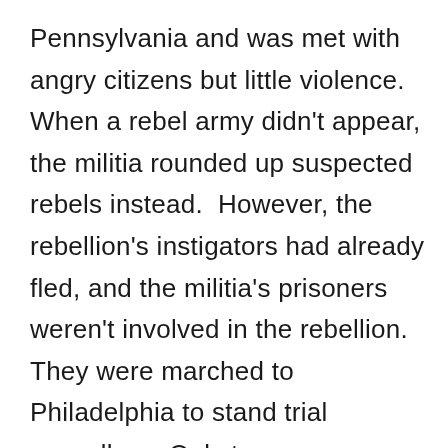Pennsylvania and was met with angry citizens but little violence. When a rebel army didn't appear, the militia rounded up suspected rebels instead.  However, the rebellion's instigators had already fled, and the militia's prisoners weren't involved in the rebellion. They were marched to Philadelphia to stand trial regardless. Only two men were found guilty of treason, and both were pardoned by Washington.